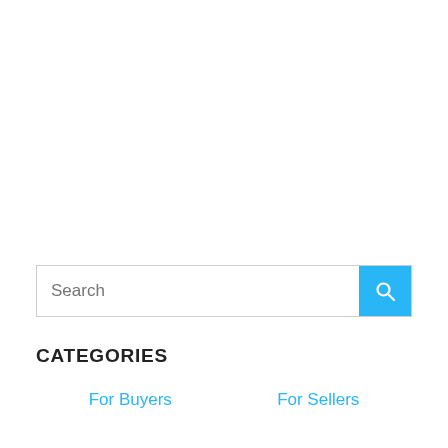Search
CATEGORIES
For Buyers
For Sellers